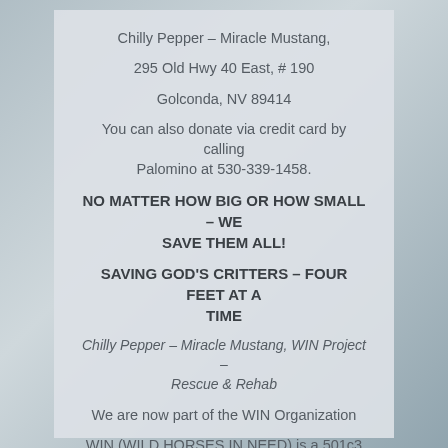Chilly Pepper – Miracle Mustang,
295 Old Hwy 40 East, # 190
Golconda, NV 89414
You can also donate via credit card by calling Palomino at 530-339-1458.
NO MATTER HOW BIG OR HOW SMALL – WE SAVE THEM ALL!
SAVING GOD'S CRITTERS – FOUR FEET AT A TIME
Chilly Pepper – Miracle Mustang, WIN Project – Rescue & Rehab
We are now part of the WIN Organization
WIN (WILD HORSES IN NEED) is a 501c3 IRS EIN 55-0882407